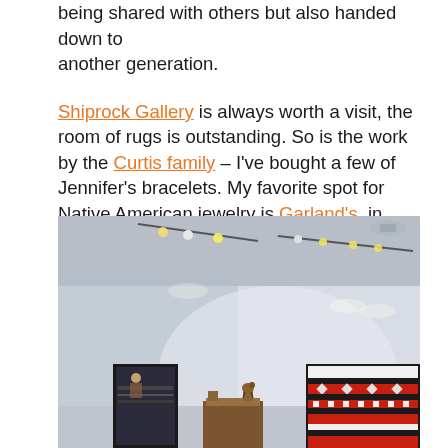being shared with others but also handed down to another generation.

Shiprock Gallery is always worth a visit, the room of rugs is outstanding. So is the work by the Curtis family – I've bought a few of Jennifer's bracelets. My favorite spot for Native American jewelry is Garland's, in Sedona Arizona, if you're ever in the neighborhood.
[Figure (photo): Interior of an art gallery with white walls, track lighting on the ceiling, and several Native American artworks displayed including a framed textile piece on the left, wooden furniture in the center, and a large Navajo-style rug with geometric patterns on the right.]